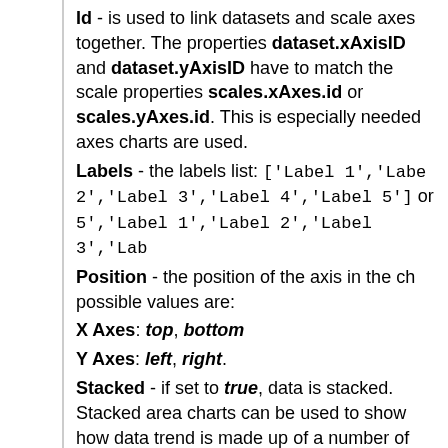Id - is used to link datasets and scale axes together. The properties dataset.xAxisID and dataset.yAxisID have to match the scale properties scales.xAxes.id or scales.yAxes.id. This is especially needed axes charts are used.
Labels - the labels list: ['Label 1','Label 2','Label 3','Label 4','Label 5'] or 5','Label 1','Label 2','Label 3','Lab
Position - the position of the axis in the ch possible values are:
X Axes: top, bottom
Y Axes: left, right.
Stacked - if set to true, data is stacked. Stacked area charts can be used to show how a data trend is made up of a number of small pieces. Bar charts can be configured into stacked bar charts by changing the settings on the Y-axes to enable stacking.
- Type - the type of the scale to be used: li